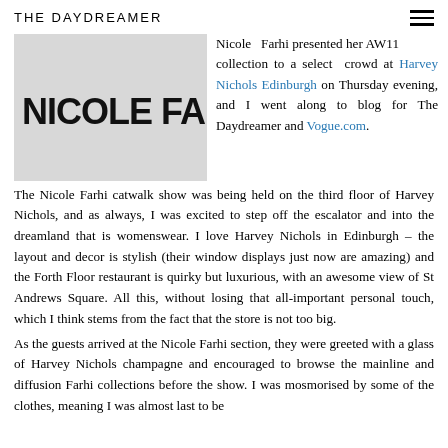THE DAYDREAMER
[Figure (photo): Nicole Farhi brand logo in large bold black text on light background]
Nicole Farhi presented her AW11 collection to a select crowd at Harvey Nichols Edinburgh on Thursday evening, and I went along to blog for The Daydreamer and Vogue.com.
The Nicole Farhi catwalk show was being held on the third floor of Harvey Nichols, and as always, I was excited to step off the escalator and into the dreamland that is womenswear. I love Harvey Nichols in Edinburgh – the layout and decor is stylish (their window displays just now are amazing) and the Forth Floor restaurant is quirky but luxurious, with an awesome view of St Andrews Square. All this, without losing that all-important personal touch, which I think stems from the fact that the store is not too big.
As the guests arrived at the Nicole Farhi section, they were greeted with a glass of Harvey Nichols champagne and encouraged to browse the mainline and diffusion Farhi collections before the show. I was mosmorised by some of the clothes, meaning I was almost last to be